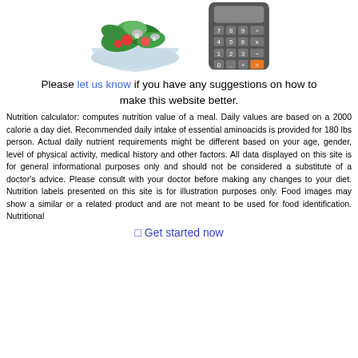[Figure (illustration): A salad bowl with green leaves, tomatoes, mushrooms and a calculator icon side by side at the top of the page]
Please let us know if you have any suggestions on how to make this website better.
Nutrition calculator: computes nutrition value of a meal. Daily values are based on a 2000 calorie a day diet. Recommended daily intake of essential aminoacids is provided for 180 lbs person. Actual daily nutrient requirements might be different based on your age, gender, level of physical activity, medical history and other factors. All data displayed on this site is for general informational purposes only and should not be considered a substitute of a doctor's advice. Please consult with your doctor before making any changes to your diet. Nutrition labels presented on this site is for illustration purposes only. Food images may show a similar or a related product and are not meant to be used for food identification. Nutritional
⊡ Get started now